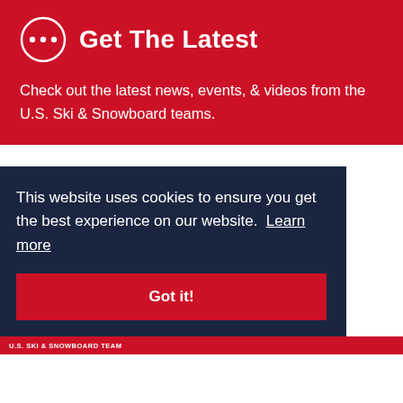[Figure (infographic): Red banner section with a circular dots/ellipsis icon and title 'Get The Latest' followed by descriptive text about U.S. Ski & Snowboard teams news, events, and videos.]
Get The Latest
Check out the latest news, events, & videos from the U.S. Ski & Snowboard teams.
This website uses cookies to ensure you get the best experience on our website. Learn more
Got it!
U.S. SKI & SNOWBOARD TEAM